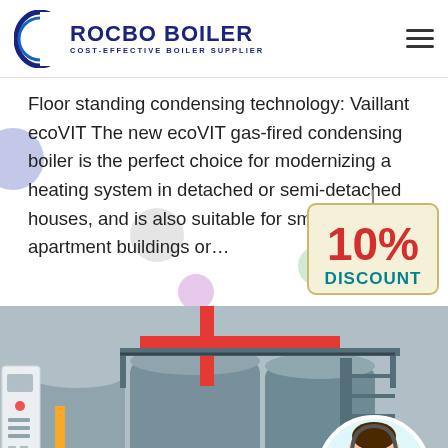ROCBO BOILER - COST-EFFECTIVE BOILER SUPPLIER
Floor standing condensing technology: Vaillant ecoVIT The new ecoVIT gas-fired condensing boiler is the perfect choice for modernizing a heating system in detached or semi-detached houses, and is also suitable for smaller apartment buildings or…
[Figure (illustration): Green 'Get Price' button]
[Figure (illustration): 10% DISCOUNT badge hanging sign with red bold text '10%' and teal 'DISCOUNT' text]
[Figure (photo): Industrial boiler room with large cylindrical tanks, red and yellow pipes, metal walkway/stairs, and a white control panel on the left. A customer service representative (woman with headset) appears in the bottom right corner.]